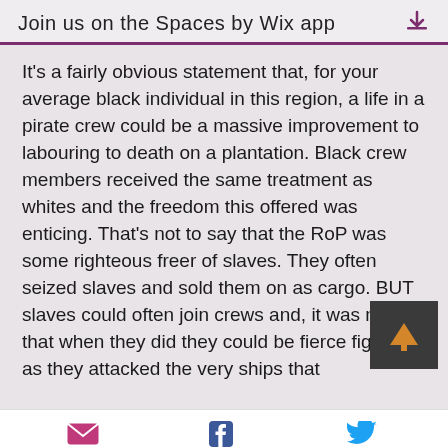Join us on the Spaces by Wix app
It's a fairly obvious statement that, for your average black individual in this region, a life in a pirate crew could be a massive improvement to labouring to death on a plantation. Black crew members received the same treatment as whites and the freedom this offered was enticing. That's not to say that the RoP was some righteous freer of slaves. They often seized slaves and sold them on as cargo. BUT slaves could often join crews and, it was noted, that when they did they could be fierce fighters as they attacked the very ships that...
Email  Facebook  Twitter